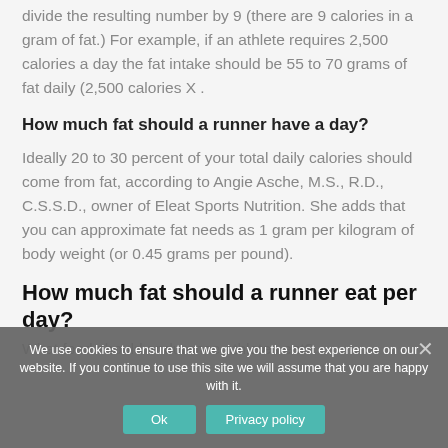divide the resulting number by 9 (there are 9 calories in a gram of fat.) For example, if an athlete requires 2,500 calories a day the fat intake should be 55 to 70 grams of fat daily (2,500 calories X .
How much fat should a runner have a day?
Ideally 20 to 30 percent of your total daily calories should come from fat, according to Angie Asche, M.S., R.D., C.S.S.D., owner of Eleat Sports Nutrition. She adds that you can approximate fat needs as 1 gram per kilogram of body weight (or 0.45 grams per pound).
How much fat should a runner eat per day?
What food should endurance athletes eat?
We use cookies to ensure that we give you the best experience on our website. If you continue to use this site we will assume that you are happy with it.